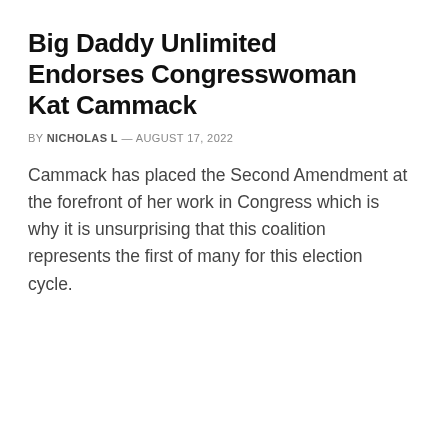Big Daddy Unlimited Endorses Congresswoman Kat Cammack
BY NICHOLAS L — AUGUST 17, 2022
Cammack has placed the Second Amendment at the forefront of her work in Congress which is why it is unsurprising that this coalition represents the first of many for this election cycle.